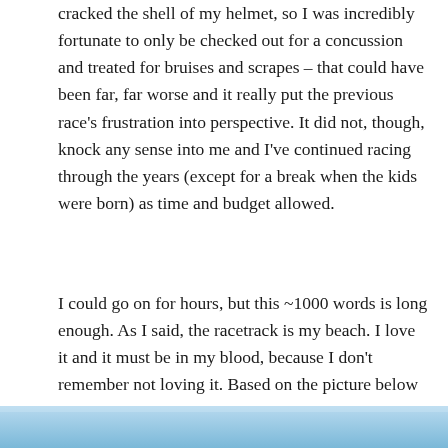cracked the shell of my helmet, so I was incredibly fortunate to only be checked out for a concussion and treated for bruises and scrapes – that could have been far, far worse and it really put the previous race's frustration into perspective. It did not, though, knock any sense into me and I've continued racing through the years (except for a break when the kids were born) as time and budget allowed.
I could go on for hours, but this ~1000 words is long enough. As I said, the racetrack is my beach. I love it and it must be in my blood, because I don't remember not loving it. Based on the picture below (taken after my 3rd place finish at Indy in 2017), one of my kids might end up writing this same blog post in several years' time. Thanks for reading – hopefully I'll see you at the track.
[Figure (photo): Partial blue sky photo strip at the bottom of the page]